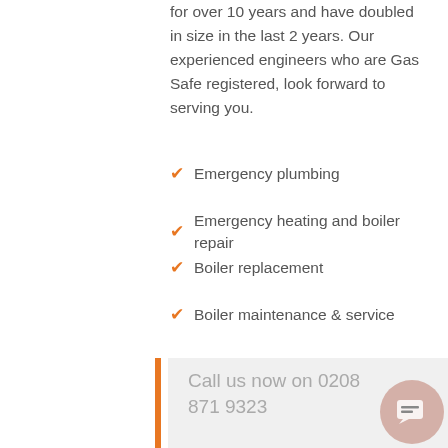for over 10 years and have doubled in size in the last 2 years. Our experienced engineers who are Gas Safe registered, look forward to serving you.
Emergency plumbing
Emergency heating and boiler repair
Boiler replacement
Boiler maintenance & service
With our vast experience, this enables us to deal with the most complicated of problems efficiently and as we have a large stock of plumbing and heating materials, the problem can usually be resolved within the first visit.
Call us now on 0208 871 9323